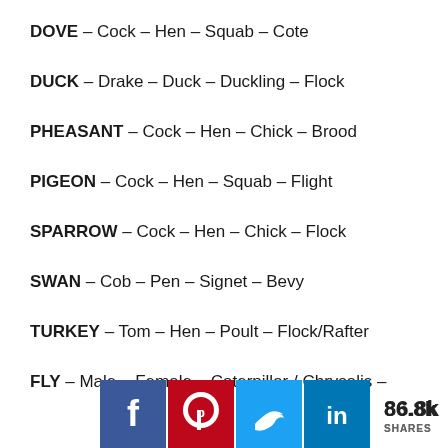DOVE – Cock – Hen – Squab – Cote
DUCK – Drake – Duck – Duckling – Flock
PHEASANT – Cock – Hen – Chick – Brood
PIGEON – Cock – Hen – Squab – Flight
SPARROW – Cock – Hen – Chick – Flock
SWAN – Cob – Pen – Signet – Bevy
TURKEY – Tom – Hen – Poult – Flock/Rafter
FLY – Male – Female – Caterpillar / Chrysalis –
[Figure (infographic): Social share buttons: Facebook (blue), Pinterest (red), Twitter (light blue), LinkedIn (dark blue), with share count 86.8k SHARES]